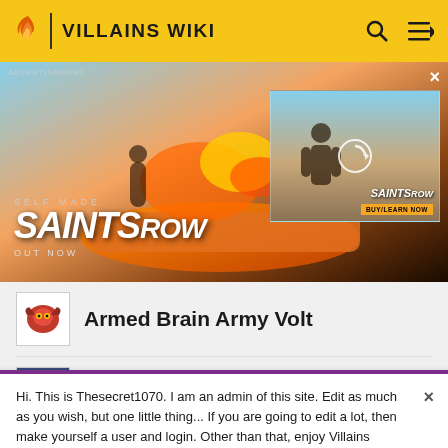VILLAINS WIKI
[Figure (screenshot): Advertisement banner for Saints Row video game. Shows 'SELF MADE' text above large 'SAINTS ROW' logo with 'OUT NOW' below. Action game artwork with cars and characters. Small inset video thumbnail on right side. Close button (×) in top right. 'ADVERTISEMENT' label in top left.]
Armed Brain Army Volt
Arnie Grunwald
Hi. This is Thesecret1070. I am an admin of this site. Edit as much as you wish, but one little thing... If you are going to edit a lot, then make yourself a user and login. Other than that, enjoy Villains Wiki!!!